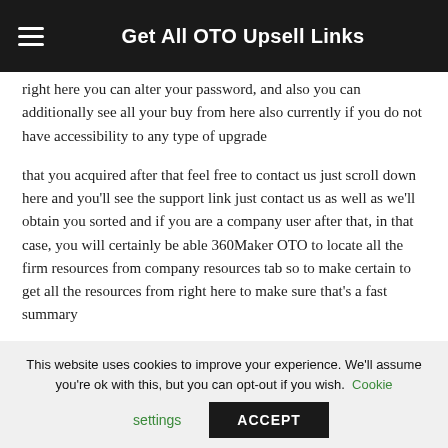Get All OTO Upsell Links
right here you can alter your password, and also you can additionally see all your buy from here also currently if you do not have accessibility to any type of upgrade
that you acquired after that feel free to contact us just scroll down here and you'll see the support link just contact us as well as we'll obtain you sorted and if you are a company user after that, in that case, you will certainly be able 360Maker OTO to locate all the firm resources from company resources tab so to make certain to get all the resources from right here to make sure that's a fast summary
360Maker OTOs upsell
This website uses cookies to improve your experience. We'll assume you're ok with this, but you can opt-out if you wish. Cookie settings ACCEPT